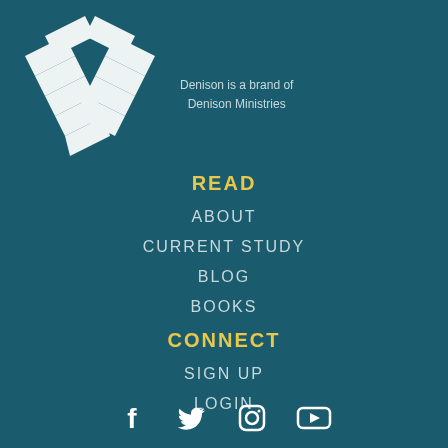[Figure (logo): Denison Ministries woven diamond/cross logo in white on teal background]
Denison is a brand of
Denison Ministries
READ
ABOUT
CURRENT STUDY
BLOG
BOOKS
CONNECT
SIGN UP
LOGIN
[Figure (illustration): Social media icons: Facebook, Twitter, Instagram, YouTube in white]